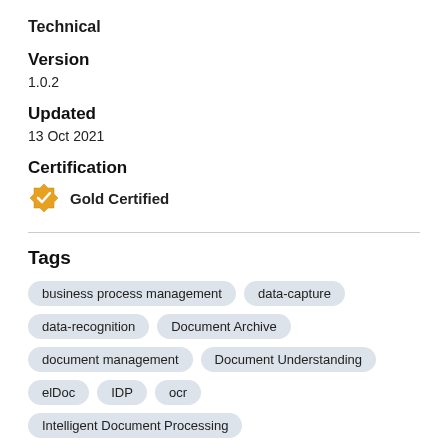Technical
Version
1.0.2
Updated
13 Oct 2021
Certification
Gold Certified
Tags
business process management
data-capture
data-recognition
Document Archive
document management
Document Understanding
elDoc
IDP
ocr
Intelligent Document Processing